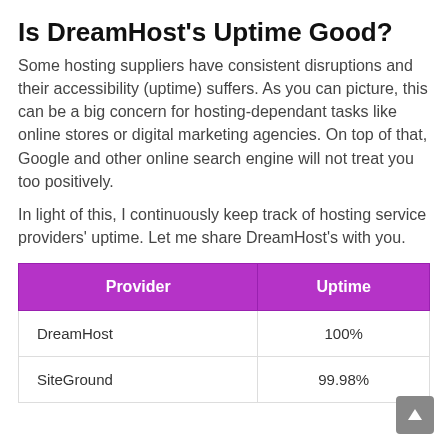Is DreamHost's Uptime Good?
Some hosting suppliers have consistent disruptions and their accessibility (uptime) suffers. As you can picture, this can be a big concern for hosting-dependant tasks like online stores or digital marketing agencies. On top of that, Google and other online search engine will not treat you too positively.
In light of this, I continuously keep track of hosting service providers' uptime. Let me share DreamHost's with you.
| Provider | Uptime |
| --- | --- |
| DreamHost | 100% |
| SiteGround | 99.98% |